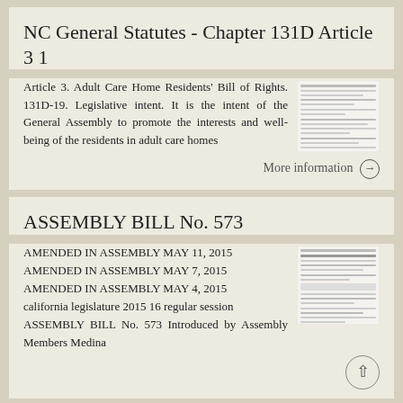NC General Statutes - Chapter 131D Article 3 1
Article 3. Adult Care Home Residents' Bill of Rights. 131D-19. Legislative intent. It is the intent of the General Assembly to promote the interests and well-being of the residents in adult care homes
More information →
ASSEMBLY BILL No. 573
AMENDED IN ASSEMBLY MAY 11, 2015 AMENDED IN ASSEMBLY MAY 7, 2015 AMENDED IN ASSEMBLY MAY 4, 2015 california legislature 2015 16 regular session ASSEMBLY BILL No. 573 Introduced by Assembly Members Medina